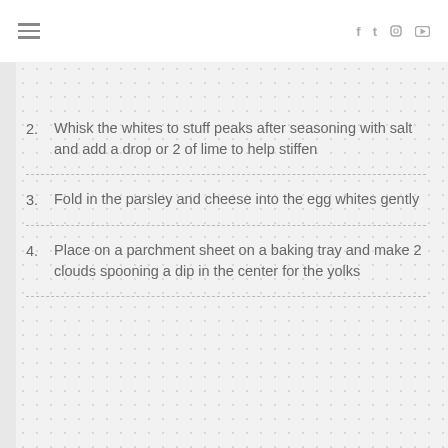≡  f  t  ☷  ▶
2. Whisk the whites to stuff peaks after seasoning with salt and add a drop or 2 of lime to help stiffen
3. Fold in the parsley and cheese into the egg whites gently
4. Place on a parchment sheet on a baking tray and make 2 clouds spooning a dip in the center for the yolks